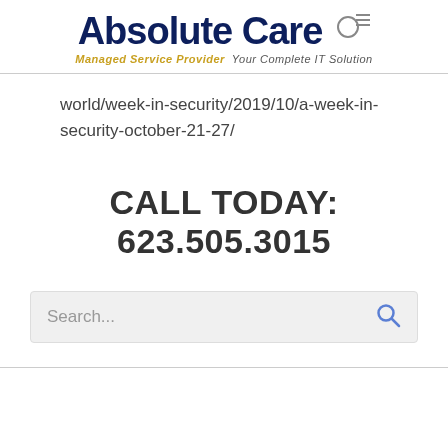[Figure (logo): Absolute Care logo with tagline: Managed Service Provider Your Complete IT Solution]
world/week-in-security/2019/10/a-week-in-security-october-21-27/
CALL TODAY: 623.505.3015
[Figure (screenshot): Search bar with placeholder text 'Search...' and a magnifying glass icon]